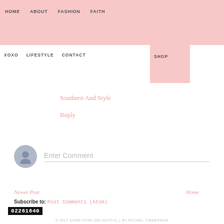HOME  ABOUT  FASHION  FAITH
I'm loving pom pom everything right now! Those earrings are abs
XOXO  LIFESTYLE  CONTACT  SHOP
Southern And Style
Reply
Enter Comment
Newer Post
Home
Subscribe to: Post Comments (Atom)
02261640
© 2017 SOMETHING DELIGHTFUL | BY RACHEL TIMMERMAN